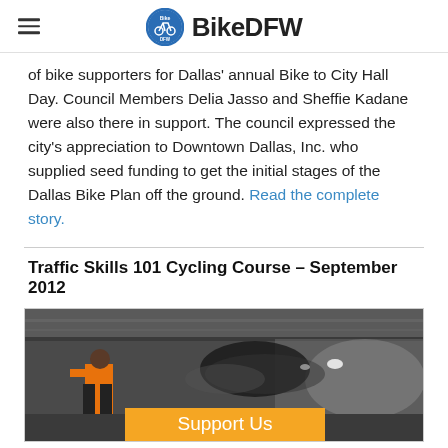BikeDFW
of bike supporters for Dallas' annual Bike to City Hall Day. Council Members Delia Jasso and Sheffie Kadane were also there in support. The council expressed the city's appreciation to Downtown Dallas, Inc. who supplied seed funding to get the initial stages of the Dallas Bike Plan off the ground. Read the complete story.
Traffic Skills 101 Cycling Course - September 2012
[Figure (photo): Person in orange vest standing under a bridge/overpass with a cyclist riding by in motion blur. A 'Support Us' badge overlays the bottom center of the image.]